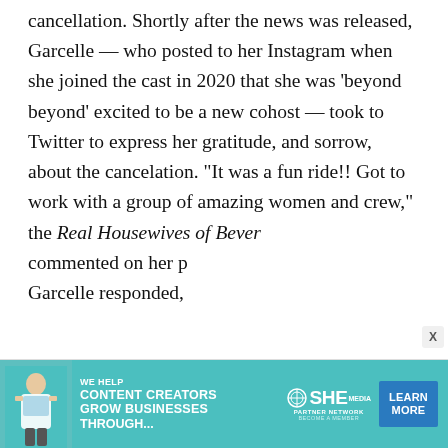cancellation. Shortly after the news was released, Garcelle — who posted to her Instagram when she joined the cast in 2020 that she was 'beyond beyond' excited to be a new cohost — took to Twitter to express her gratitude, and sorrow, about the cancelation. "It was a fun ride!! Got to work with a group of amazing women and crew," the Real Housewives of Bever commented on her p Garcelle responded,
[Figure (infographic): Advertisement banner for SHE Media Partner Network with teal background, woman with laptop, text 'WE HELP CONTENT CREATORS GROW BUSINESSES THROUGH...' and 'LEARN MORE' button]